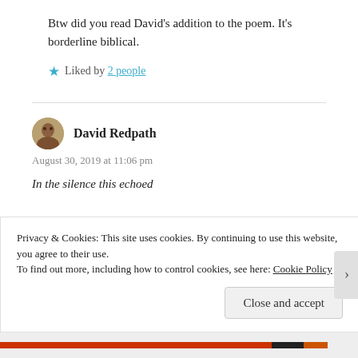Btw did you read David's addition to the poem. It's borderline biblical.
★ Liked by 2 people
David Redpath
August 30, 2019 at 11:06 pm
In the silence this echoed
Privacy & Cookies: This site uses cookies. By continuing to use this website, you agree to their use. To find out more, including how to control cookies, see here: Cookie Policy
Close and accept